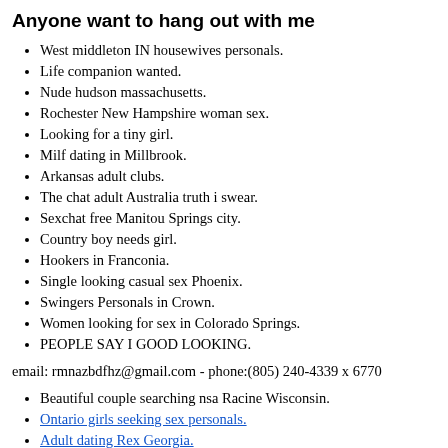Anyone want to hang out with me
West middleton IN housewives personals.
Life companion wanted.
Nude hudson massachusetts.
Rochester New Hampshire woman sex.
Looking for a tiny girl.
Milf dating in Millbrook.
Arkansas adult clubs.
The chat adult Australia truth i swear.
Sexchat free Manitou Springs city.
Country boy needs girl.
Hookers in Franconia.
Single looking casual sex Phoenix.
Swingers Personals in Crown.
Women looking for sex in Colorado Springs.
PEOPLE SAY I GOOD LOOKING.
email: rmnazbdfhz@gmail.com - phone:(805) 240-4339 x 6770
Beautiful couple searching nsa Racine Wisconsin.
Ontario girls seeking sex personals.
Adult dating Rex Georgia.
Married wife looking sex tonight Lansing.
Kramer North Dakota locals looking to fuck.